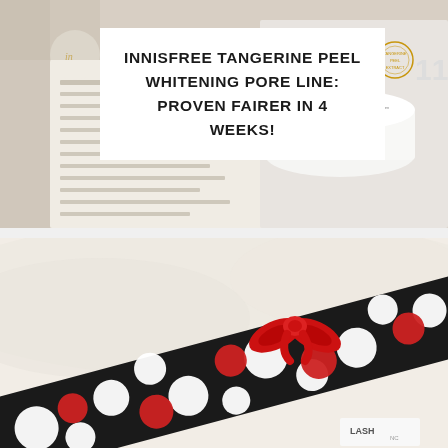[Figure (photo): Top-down photo of Innisfree Tangerine Peel Whitening Pore Cream jar placed on an open book page, with a white box title overlay on top left.]
INNISFREE TANGERINE PEEL WHITENING PORE LINE: PROVEN FAIRER IN 4 WEEKS!
[Figure (photo): Close-up photo of a black fabric with white and red polka dots tied with a red satin ribbon bow, resting on a cream-colored fluffy textile background.]